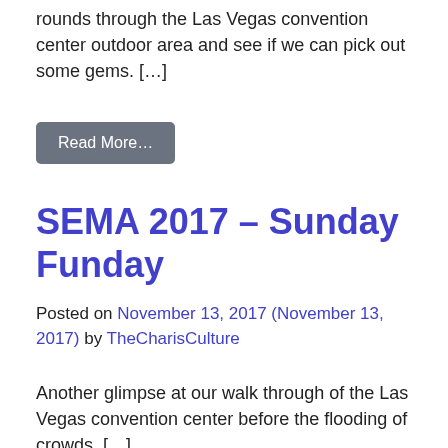rounds through the Las Vegas convention center outdoor area and see if we can pick out some gems. […]
Read More…
SEMA 2017 – Sunday Funday
Posted on November 13, 2017 (November 13, 2017) by TheCharisCulture
Another glimpse at our walk through of the Las Vegas convention center before the flooding of crowds. […]
Read More…
SEMA 2017 – Tech Mic'd